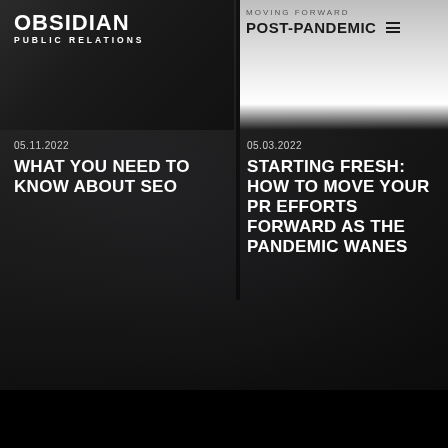OBSIDIAN PUBLIC RELATIONS
MOVING FORWARD POST-PANDEMIC
05.11.2022
WHAT YOU NEED TO KNOW ABOUT SEO
05.03.2022
STARTING FRESH: HOW TO MOVE YOUR PR EFFORTS FORWARD AS THE PANDEMIC WANES